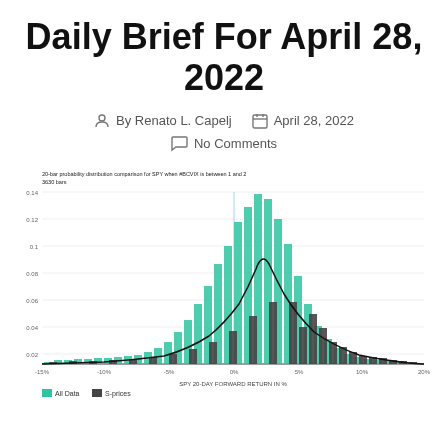Daily Brief For April 28, 2022
By Renato L. Capelj   April 28, 2022   No Comments
[Figure (continuous-plot): 20-bar probability distribution comparison for SPY when #BCVIX is between 1 and 2, 3630 bars. Overlapping histogram with teal 'All Data' bars and dark gray 'S-prices' bars, with a black normal distribution curve overlay. X-axis: SPY 20-DAY FORWARD RETURN IN %. Y-axis: probability values from 0 to 0.14. A vertical reference line near 0%. The teal distribution peaks sharply near 1-3%, the dark bars show a broader distribution.]